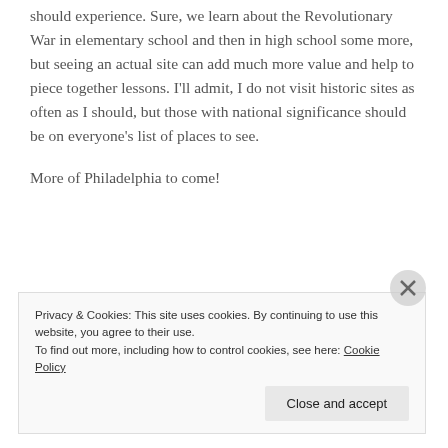should experience. Sure, we learn about the Revolutionary War in elementary school and then in high school some more, but seeing an actual site can add much more value and help to piece together lessons. I'll admit, I do not visit historic sites as often as I should, but those with national significance should be on everyone's list of places to see.
More of Philadelphia to come!
Privacy & Cookies: This site uses cookies. By continuing to use this website, you agree to their use.
To find out more, including how to control cookies, see here: Cookie Policy